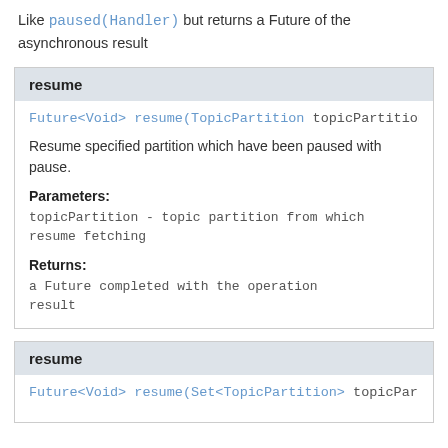Like paused(Handler) but returns a Future of the asynchronous result
resume
Future<Void> resume(TopicPartition topicPartition
Resume specified partition which have been paused with pause.
Parameters:
topicPartition - topic partition from which resume fetching
Returns:
a Future completed with the operation result
resume
Future<Void> resume(Set<TopicPartition> topicPart